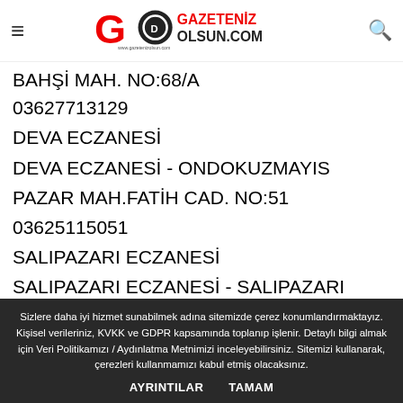GAZETENİZ OLSUN.COM
BAHŞİ MAH. NO:68/A
03627713129
DEVA ECZANESİ
DEVA ECZANESİ - ONDOKUZMAYIS
PAZAR MAH.FATİH CAD. NO:51
03625115051
SALIPAZARI ECZANESİ
SALIPAZARI ECZANESİ - SALIPAZARI
Sizlere daha iyi hizmet sunabilmek adına sitemizde çerez konumlandırmaktayız. Kişisel verileriniz, KVKK ve GDPR kapsamında toplanıp işlenir. Detaylı bilgi almak için Veri Politikamızı / Aydınlatma Metnimizi inceleyebilirsiniz. Sitemizi kullanarak, çerezleri kullanmamızı kabul etmiş olacaksınız.